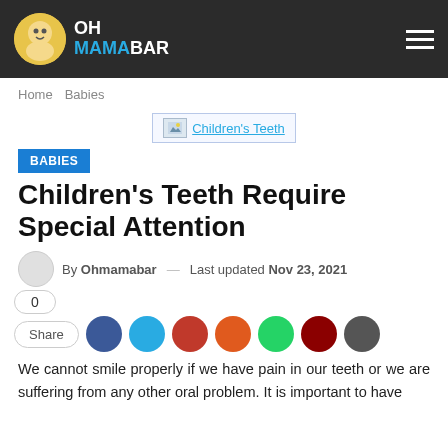OH MAMABAR
Home  Babies
[Figure (screenshot): Broken image placeholder with link text 'Children's Teeth' in blue underline]
BABIES
Children's Teeth Require Special Attention
By Ohmamabar — Last updated Nov 23, 2021
0
Share
We cannot smile properly if we have pain in our teeth or we are suffering from any other oral problem. It is important to have